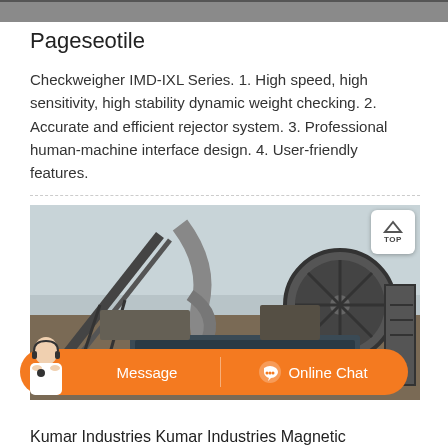[Figure (photo): Top partial image of industrial equipment, gray background strip]
Pageseotile
Checkweigher IMD-IXL Series. 1. High speed, high sensitivity, high stability dynamic weight checking. 2. Accurate and efficient rejector system. 3. Professional human-machine interface design. 4. User-friendly features.
[Figure (photo): Industrial machinery photo showing conveyor belts, large rotating drum/wheel equipment, and pipe structures at a mining or aggregate processing facility. Overcast sky background.]
Kumar Industries Kumar Industries Magnetic